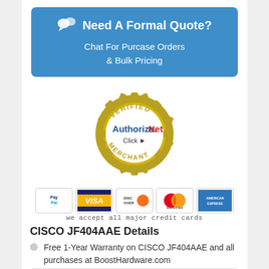[Figure (infographic): Blue rounded rectangle banner with chat bubble icon, text 'Need A Formal Quote?', 'Chat For Purcase Orders', '& Bulk Pricing']
[Figure (logo): Authorize.Net Verified Merchant seal - gold gear/badge circle with 'VERIFIED' at top, 'MERCHANT' at bottom, 'Authorize.Net' text in center, 'Click' with arrow]
[Figure (infographic): Payment method icons: PayPal, VISA, DISCOVER, MasterCard, American Express]
we accept all major credit cards
CISCO JF404AAE Details
Free 1-Year Warranty on CISCO JF404AAE and all purchases at BoostHardware.com